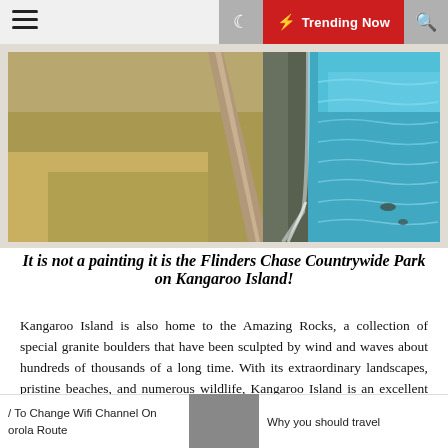Trending Now
[Figure (photo): Aerial photo of a narrow road running along a cliff edge between golden grasslands and turquoise ocean waves at Flinders Chase National Park on Kangaroo Island]
It is not a painting it is the Flinders Chase Countrywide Park on Kangaroo Island!
Kangaroo Island is also home to the Amazing Rocks, a collection of special granite boulders that have been sculpted by wind and waves about hundreds of thousands of a long time. With its extraordinary landscapes, pristine beaches, and numerous wildlife, Kangaroo Island is an excellent spot for your next highway vacation.
/ To Change Wifi Channel On orola Route | Why you should travel